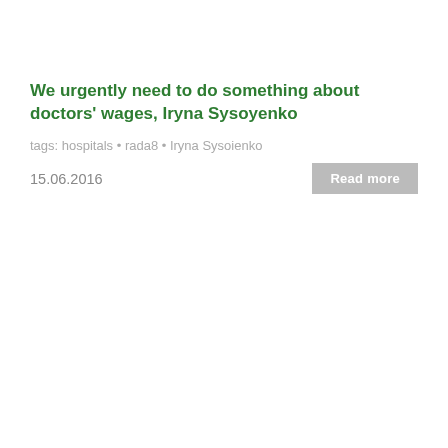We urgently need to do something about doctors' wages, Iryna Sysoyenko
tags: hospitals • rada8 • Iryna Sysoienko
15.06.2016